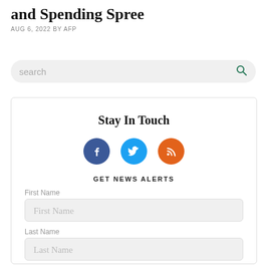and Spending Spree
AUG 6, 2022 BY AFP
[Figure (screenshot): Search bar with placeholder text 'search' and a teal magnifying glass icon on a light gray rounded rectangle background.]
Stay In Touch
[Figure (infographic): Three social media icon circles: Facebook (blue), Twitter (cyan), RSS (orange)]
GET NEWS ALERTS
First Name
First Name
Last Name
Last Name